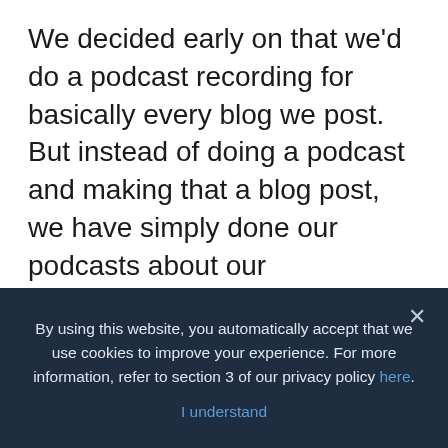We decided early on that we'd do a podcast recording for basically every blog we post. But instead of doing a podcast and making that a blog post, we have simply done our podcasts about our experiments and embedded them into the corresponding blog post.
My teammate Richard Beeson has been with the company since early 2012 and for years has wanted to do a podcast within the company. The guy's voice was made for radio...
By using this website, you automatically accept that we use cookies to improve your experience. For more information, refer to section 3 of our privacy policy here. I understand